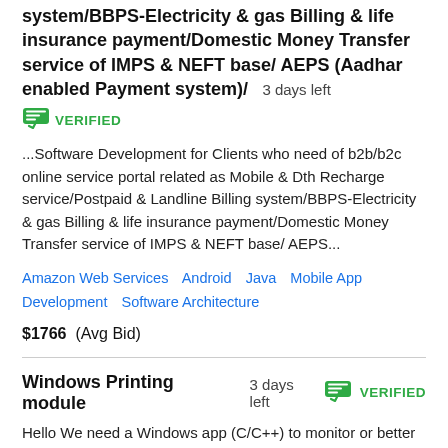system/BBPS-Electricity & gas Billing & life insurance payment/Domestic Money Transfer service of IMPS & NEFT base/ AEPS (Aadhar enabled Payment system)/  3 days left
VERIFIED
...Software Development for Clients who need of b2b/b2c online service portal related as Mobile & Dth Recharge service/Postpaid & Landline Billing system/BBPS-Electricity & gas Billing & life insurance payment/Domestic Money Transfer service of IMPS & NEFT base/ AEPS...
Amazon Web Services   Android   Java   Mobile App Development   Software Architecture
$1766  (Avg Bid)
Windows Printing module  3 days left  VERIFIED
Hello We need a Windows app (C/C++) to monitor or better intercept printing jobs. We have an Internet kiosk